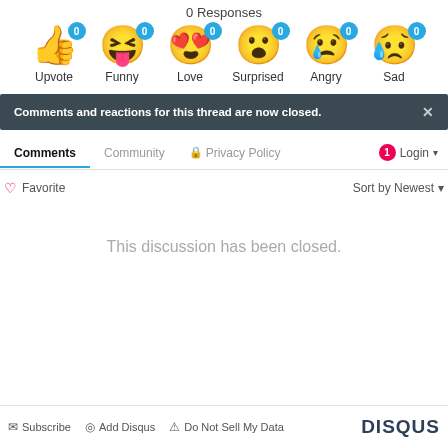0 Responses
[Figure (infographic): Six emoji reaction buttons each showing count 0: Upvote (thumbs up), Funny (laughing face), Love (heart eyes), Surprised (wow face), Angry (crying face), Sad (blue tearful face)]
Comments and reactions for this thread are now closed.
Comments  Community  Privacy Policy  1  Login
Favorite  Sort by Newest
This discussion has been closed.
Subscribe  Add Disqus  Do Not Sell My Data  DISQUS